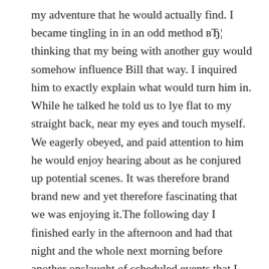my adventure that he would actually find. I became tingling in in an odd method вЂ¦ thinking that my being with another guy would somehow influence Bill that way. I inquired him to exactly explain what would turn him in. While he talked he told us to lye flat to my straight back, near my eyes and touch myself. We eagerly obeyed, and paid attention to him he would enjoy hearing about as he conjured up potential scenes. It was therefore brand brand new and yet therefore fascinating that we was enjoying it.The following day I finished early in the afternoon and had that night and the whole next morning before another onslaught of scheduled events that I told him to keep talking, and he could tell by my heavy breathing. So because of the finish associated with my thoughts were already churning with the excitement of the nights possibilities day. We rushed from the meeting center and as a waiting cab that sped me down to my resort.